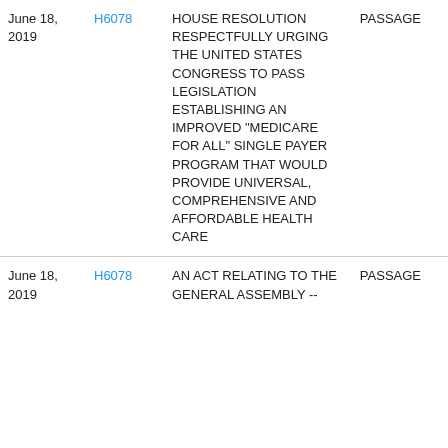| Date | Bill | Description | Status |
| --- | --- | --- | --- |
| June 18, 2019 | H6078 | HOUSE RESOLUTION RESPECTFULLY URGING THE UNITED STATES CONGRESS TO PASS LEGISLATION ESTABLISHING AN IMPROVED "MEDICARE FOR ALL" SINGLE PAYER PROGRAM THAT WOULD PROVIDE UNIVERSAL, COMPREHENSIVE AND AFFORDABLE HEALTH CARE | PASSAGE |
| June 18, 2019 | H6078 | AN ACT RELATING TO THE GENERAL ASSEMBLY -- | PASSAGE |